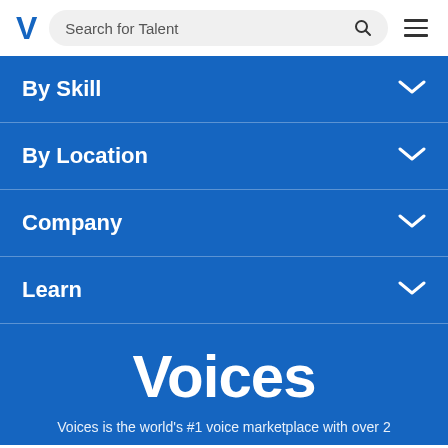[Figure (screenshot): Voices.com website header with blue V logo, search bar labeled 'Search for Talent' with magnifier icon, and hamburger menu icon]
By Skill
By Location
Company
Learn
Voices
Voices is the world's #1 voice marketplace with over 2